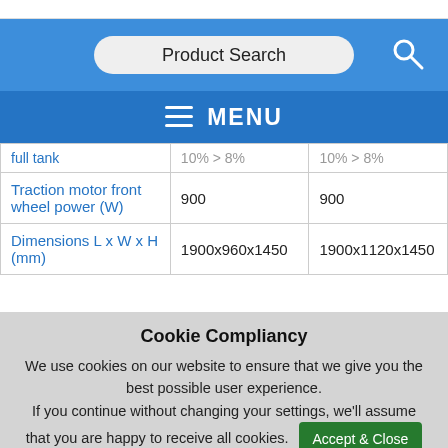[Figure (screenshot): Top white navigation bar with partial content]
[Figure (screenshot): Blue search bar with 'Product Search' input and magnifying glass icon]
[Figure (screenshot): Dark blue MENU bar with hamburger icon]
|  |  |  |
| --- | --- | --- |
| full tank | 10% > 8% | 10% > 8% |
| Traction motor front wheel power (W) | 900 | 900 |
| Dimensions L x W x H (mm) | 1900x960x1450 | 1900x1120x1450 |
Cookie Compliancy
We use cookies on our website to ensure that we give you the best possible user experience.
If you continue without changing your settings, we'll assume that you are happy to receive all cookies.
Accept & Close
Read our Privacy Policy